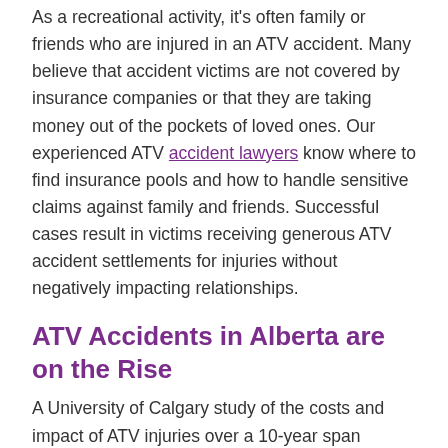As a recreational activity, it's often family or friends who are injured in an ATV accident. Many believe that accident victims are not covered by insurance companies or that they are taking money out of the pockets of loved ones. Our experienced ATV accident lawyers know where to find insurance pools and how to handle sensitive claims against family and friends. Successful cases result in victims receiving generous ATV accident settlements for injuries without negatively impacting relationships.
ATV Accidents in Alberta are on the Rise
A University of Calgary study of the costs and impact of ATV injuries over a 10-year span revealed the following:
Alberta leads the country with 25% of all national vehicle sales and use